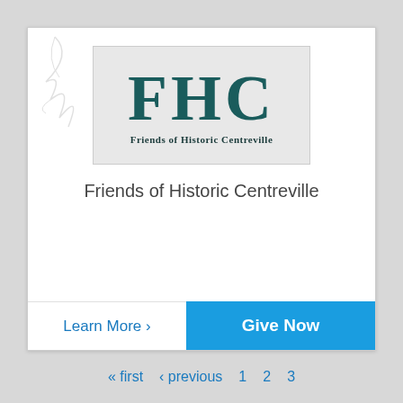[Figure (logo): FHC logo with large teal letters F, H, C and tagline 'Friends of Historic Centreville' on a light gray background with tree branch decoration]
Friends of Historic Centreville
Learn More ›
Give Now
« first ‹ previous 1 2 3